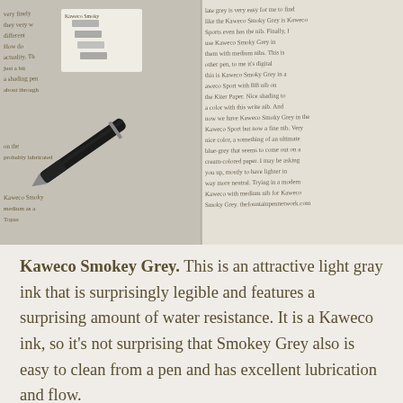[Figure (photo): Photo of a fountain pen with ink swatches and handwritten notes showing Kaweco Smokey Grey ink samples. Left side shows the pen and ink color swatches on paper; right side shows handwritten review text in grey ink.]
Kaweco Smokey Grey. This is an attractive light gray ink that is surprisingly legible and features a surprising amount of water resistance. It is a Kaweco ink, so it's not surprising that Smokey Grey also is easy to clean from a pen and has excellent lubrication and flow.